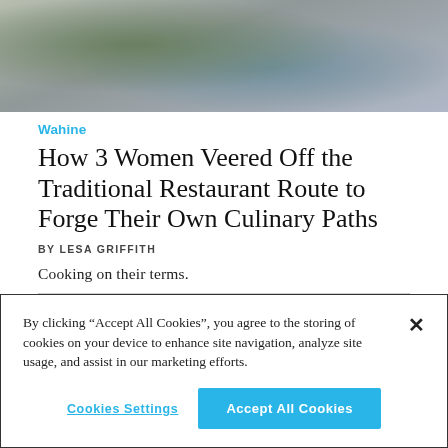[Figure (photo): Photo of a person in dark clothing near green leafy vegetables and market/kitchen setting]
Wahine
How 3 Women Veered Off the Traditional Restaurant Route to Forge Their Own Culinary Paths
BY LESA GRIFFITH
Cooking on their terms.
By clicking “Accept All Cookies”, you agree to the storing of cookies on your device to enhance site navigation, analyze site usage, and assist in our marketing efforts.
Cookies Settings
Accept All Cookies